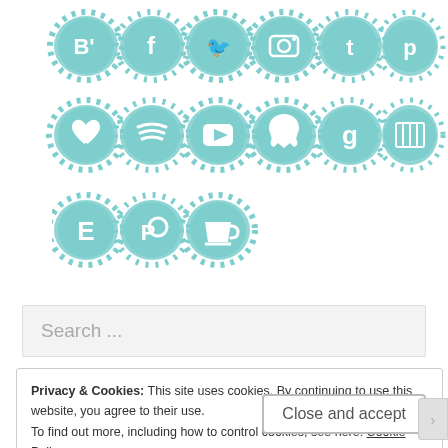[Figure (illustration): Two rows of teal/aqua splash-style social media icons: Row 1: B' (Bloglovin), f (Facebook), Twitter bird, Instagram, t (Tumblr), p (Pinterest). Row 2: w (heart, Wattpad), Spotify, YouTube, Snapchat, g (Goodreads), bookshelf. Row 3: E (Etsy), Patreon, Ko-fi cup.]
Search ...
Privacy & Cookies: This site uses cookies. By continuing to use this website, you agree to their use.
To find out more, including how to control cookies, see here: Cookie Policy
Close and accept